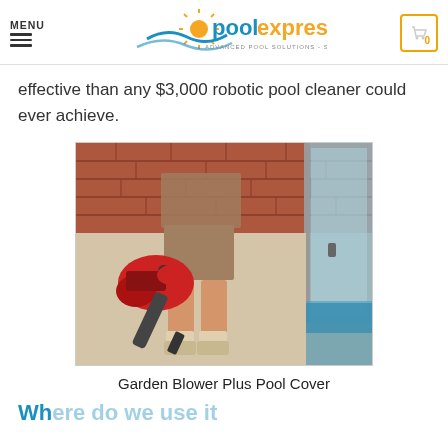MENU | poolexpress ADVANCED POOL SOLUTIONS - SUPERIOR VALUE | Cart: 0
effective than any $3,000 robotic pool cleaner could ever achieve.
[Figure (photo): Person holding a red gas-powered garden blower/leaf blower, wearing khaki shorts and boots, standing on concrete near a pool area with brick wall in background]
Garden Blower Plus Pool Cover
Wh...